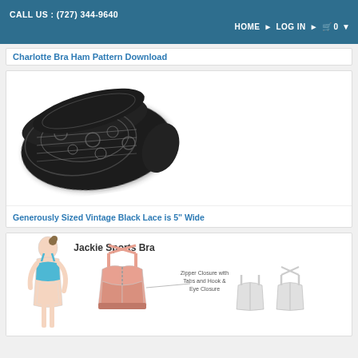CALL US : (727) 344-9640 | HOME > LOG IN > 0
Charlotte Bra Ham Pattern Download
[Figure (photo): Black vintage lace fabric spread out, showing floral lace pattern, approximately 5 inches wide]
Generously Sized Vintage Black Lace is 5" Wide
[Figure (illustration): Jackie Sports Bra pattern illustration showing a woman wearing a blue sports bra, and a line drawing of the bra pattern with zipper closure with tabs and hook and eye closure text]